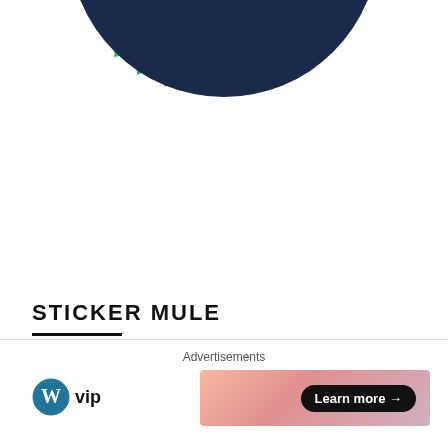[Figure (logo): IT Blog Awards hosted by Cisco badge/seal — green starburst shape with dark navy circle in center. Text 'IT Blog Awards' in white, 'hosted by' in white, 'Cisco' in teal/cyan. Top portion of badge visible.]
STICKER MULE
[Figure (illustration): Sticker Mule advertisement: orange background rectangle with white mule/horse icon and 'stickermule' logo text, and large white bold text 'Get $10 credit']
Advertisements
[Figure (logo): WordPress VIP logo — WordPress 'W' circle icon followed by 'vip' text in bold]
[Figure (illustration): Advertisement banner with gradient pink/peach background and a 'Learn more →' button in dark pill shape on right side]